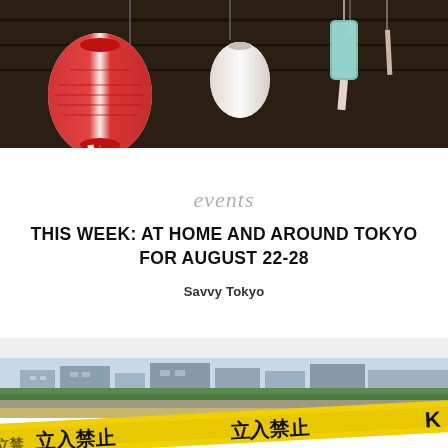[Figure (photo): Photo of hanging Japanese paper lanterns (chochin) and wind chimes against a dark wooden ceiling background]
events
THIS WEEK: AT HOME AND AROUND TOKYO FOR AUGUST 22-28
Savvy Tokyo
[Figure (photo): Photo of Japanese flood warning tape (yellow, with kanji characters 立入禁止 meaning 'no entry') stretched across a flooded riverside area with buildings and greenery in the background]